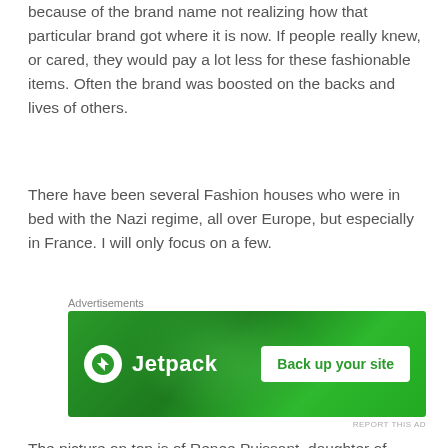because of the brand name not realizing how that particular brand got where it is now. If people really knew, or cared, they would pay a lot less for these fashionable items. Often the brand was boosted on the backs and lives of others.
There have been several Fashion houses who were in bed with the Nazi regime, all over Europe, but especially in France. I will only focus on a few.
[Figure (other): Jetpack advertisement banner with green gradient background, Jetpack logo with lightning bolt icon, and 'Back up your site' button]
The picture on top is of Renee Puissant, daughter of Jewish parents Alfred van Cleef and Esther Arpels, made her way to the Nazi-backed Vichy regime in the south of France to operate the Van Cleef & Arpels boutique there, only to commit suicide by throwing herself out of a third-